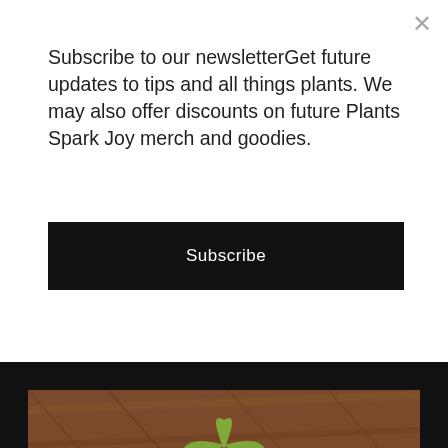Subscribe to our newsletterGet future updates to tips and all things plants. We may also offer discounts on future Plants Spark Joy merch and goodies.
Subscribe
[Figure (photo): Close-up photo of a green succulent plant (rosette shape) in a dark pot, placed on a wooden surface with warm brown tones.]